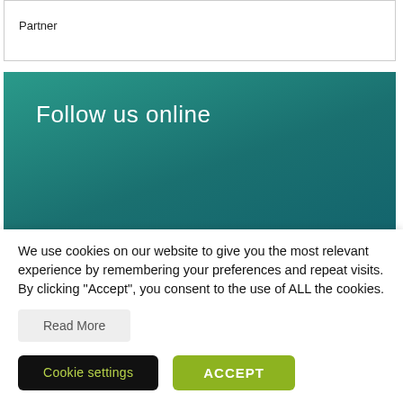Partner
[Figure (infographic): Teal gradient banner with 'Follow us online' heading and LinkedIn, Twitter, YouTube social media icons in white]
[Figure (infographic): Partially visible teal banner with 'Register for updates' text]
We use cookies on our website to give you the most relevant experience by remembering your preferences and repeat visits. By clicking “Accept”, you consent to the use of ALL the cookies.
Read More
Cookie settings
ACCEPT